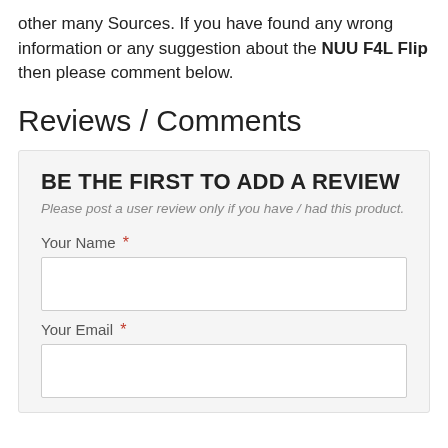other many Sources. If you have found any wrong information or any suggestion about the NUU F4L Flip then please comment below.
Reviews / Comments
BE THE FIRST TO ADD A REVIEW
Please post a user review only if you have / had this product.
Your Name *
Your Email *